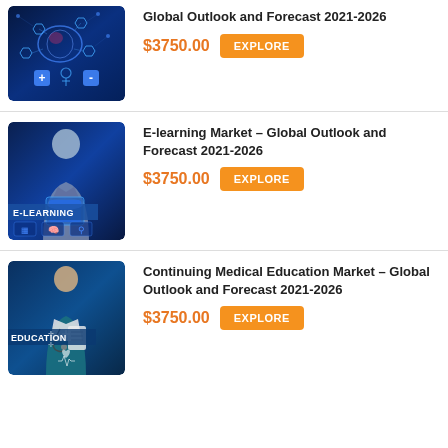[Figure (photo): Healthcare technology / digital health concept with brain, medical icons on blue background]
Global Outlook and Forecast 2021-2026
$3750.00
EXPLORE
[Figure (photo): E-learning concept with person using tablet, E-LEARNING text overlaid on blue background with icons]
E-learning Market - Global Outlook and Forecast 2021-2026
$3750.00
EXPLORE
[Figure (photo): Medical education concept showing doctor in scrubs with stethoscope and EDUCATION text overlay on blue background]
Continuing Medical Education Market - Global Outlook and Forecast 2021-2026
$3750.00
EXPLORE